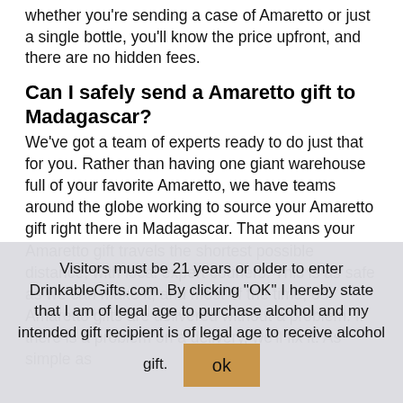whether you're sending a case of Amaretto or just a single bottle, you'll know the price upfront, and there are no hidden fees.
Can I safely send a Amaretto gift to Madagascar?
We've got a team of experts ready to do just that for you. Rather than having one giant warehouse full of your favorite Amaretto, we have teams around the globe working to source your Amaretto gift right there in Madagascar. That means your Amaretto gift travels the shortest possible distance, with local expert couriers. This is as safe as we can make it, and most of the time, our Amaretto gifts are delivered without a problem. If there is a problem on a delivery, we'll fix it. As simple as
Visitors must be 21 years or older to enter DrinkableGifts.com. By clicking "OK" I hereby state that I am of legal age to purchase alcohol and my intended gift recipient is of legal age to receive alcohol gift.